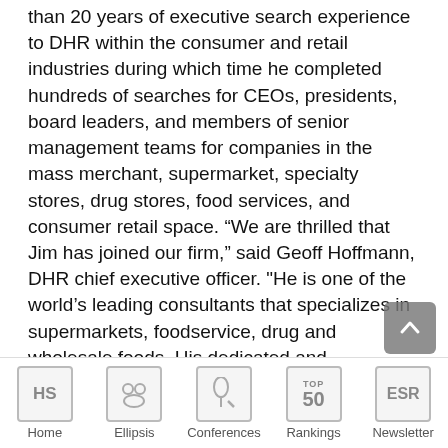than 20 years of executive search experience to DHR within the consumer and retail industries during which time he completed hundreds of searches for CEOs, presidents, board leaders, and members of senior management teams for companies in the mass merchant, supermarket, specialty stores, drug stores, food services, and consumer retail space. “We are thrilled that Jim has joined our firm,” said Geoff Hoffmann, DHR chief executive officer. "He is one of the world’s leading consultants that specializes in supermarkets, foodservice, drug and wholesale foods. His dedicated and collaborative style of serving clients and colleagues with the highest standard is a true embodiment of our culture. We look forward to his positive impact across DHR.” Prior to CTPartners, Mr. DiFilippo was the head of Whitehead Mann’s U.S. retail practice, as well as a member of the firm’s management committee for North America. Previously, he was with Korn Ferry, where he served as managing partner and vice president of the firm’s retail specialty practice, and with Cook Associates where he held similar roles. Mr. DiFilippo founded and served as president of national retail search firm
[Figure (other): Navigation bar with 5 icons: HS (Home), group icon (Ellipsis), microphone icon (Conferences), TOP 50 badge (Rankings), ESR box (Newsletter)]